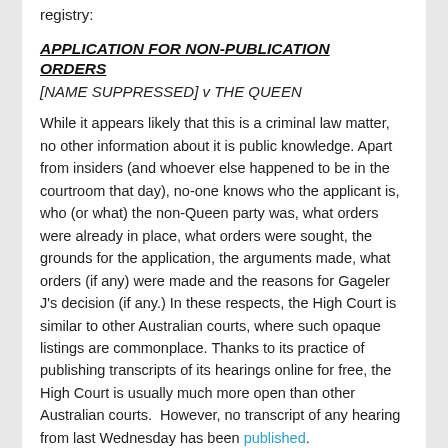registry:
APPLICATION FOR NON-PUBLICATION ORDERS
[NAME SUPPRESSED] v THE QUEEN
While it appears likely that this is a criminal law matter, no other information about it is public knowledge. Apart from insiders (and whoever else happened to be in the courtroom that day), no-one knows who the applicant is, who (or what) the non-Queen party was, what orders were already in place, what orders were sought, the grounds for the application, the arguments made, what orders (if any) were made and the reasons for Gageler J's decision (if any.) In these respects, the High Court is similar to other Australian courts, where such opaque listings are commonplace. Thanks to its practice of publishing transcripts of its hearings online for free, the High Court is usually much more open than other Australian courts.  However, no transcript of any hearing from last Wednesday has been published.
However, transcripts from a different matter a week earlier are more illuminating. Continue reading →